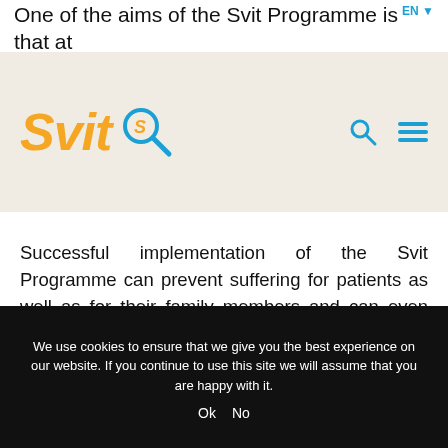One of the aims of the Svit Programme is that at least 70 % of invited persons will actively
[Figure (logo): Svit Programme logo: orange italic 'Svit' text with a magnifying glass icon containing an 'S', on a beige/cream background, with search and hamburger menu icons on the right]
Successful implementation of the Svit Programme can prevent suffering for patients as well as for their family members and can even prevent colorectal cancer.
We use cookies to ensure that we give you the best experience on our website. If you continue to use this site we will assume that you are happy with it. Ok No